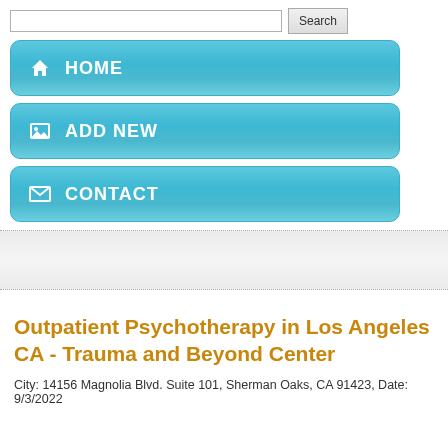HOME
ADD NEW
CONTACT
Outpatient Psychotherapy in Los Angeles CA - Trauma and Beyond Center
City: 14156 Magnolia Blvd. Suite 101, Sherman Oaks, CA 91423, Date: 9/3/2022